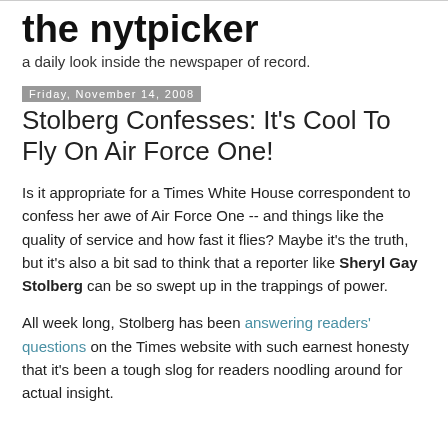the nytpicker
a daily look inside the newspaper of record.
Friday, November 14, 2008
Stolberg Confesses: It's Cool To Fly On Air Force One!
Is it appropriate for a Times White House correspondent to confess her awe of Air Force One -- and things like the quality of service and how fast it flies? Maybe it's the truth, but it's also a bit sad to think that a reporter like Sheryl Gay Stolberg can be so swept up in the trappings of power.
All week long, Stolberg has been answering readers' questions on the Times website with such earnest honesty that it's been a tough slog for readers noodling around for actual insight.